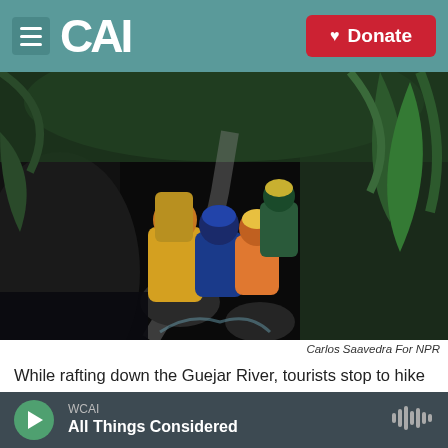CAI | Donate
[Figure (photo): Group of tourists wearing helmets and life jackets hiking along a rocky stream through dense jungle vegetation, viewed from behind]
Carlos Saavedra For NPR
While rafting down the Guejar River, tourists stop to hike along a stream to
WCAI
All Things Considered